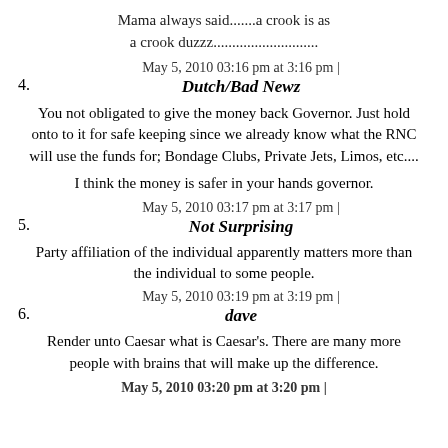Mama always said.......a crook is as a crook duzzz............................
May 5, 2010 03:16 pm at 3:16 pm | Dutch/Bad Newz
You not obligated to give the money back Governor. Just hold onto to it for safe keeping since we already know what the RNC will use the funds for; Bondage Clubs, Private Jets, Limos, etc....
I think the money is safer in your hands governor.
May 5, 2010 03:17 pm at 3:17 pm | Not Surprising
Party affiliation of the individual apparently matters more than the individual to some people.
May 5, 2010 03:19 pm at 3:19 pm | dave
Render unto Caesar what is Caesar's. There are many more people with brains that will make up the difference.
May 5, 2010 03:20 pm at 3:20 pm |